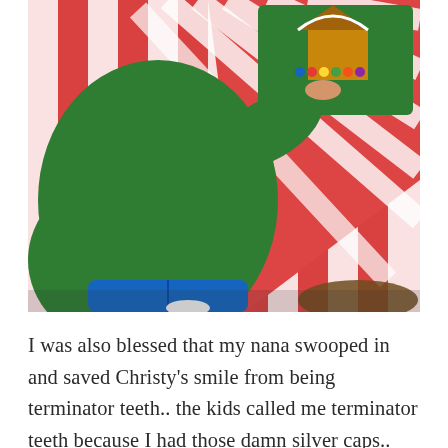[Figure (photo): Overhead view of a child in a green sweatshirt and blue jeans sitting cross-legged on a red and white striped tablecloth, decorating a gingerbread house on a green tray. The gingerbread house has colorful candy decorations.]
I was also blessed that my nana swooped in and saved Christy's smile from being terminator teeth.. the kids called me terminator teeth because I had those damn silver caps.. ugh I'm thankful my nana stopped the anxiety of